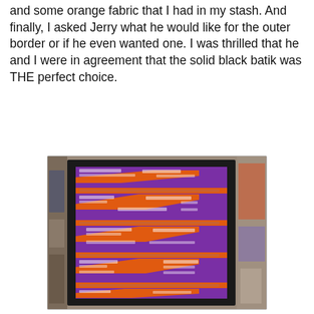and some orange fabric that I had in my stash. And finally, I asked Jerry what he would like for the outer border or if he even wanted one. I was thrilled that he and I were in agreement that the solid black batik was THE perfect choice.
[Figure (photo): A quilt displayed on a frame or board, featuring alternating horizontal rows of orange and purple fabric with diagonal lightning bolt or zigzag patterns, decorated with black and white printed text fabric strips. The quilt has a solid black outer border. It is photographed in what appears to be a craft room or studio.]